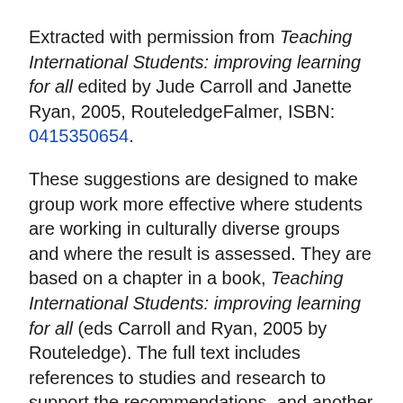Extracted with permission from Teaching International Students: improving learning for all edited by Jude Carroll and Janette Ryan, 2005, RouteledgeFalmer, ISBN: 0415350654.
These suggestions are designed to make group work more effective where students are working in culturally diverse groups and where the result is assessed. They are based on a chapter in a book, Teaching International Students: improving learning for all (eds Carroll and Ryan, 2005 by Routeledge). The full text includes references to studies and research to support the recommendations, and another chapter by Glauco de Vita in the Brookes Business School about using groupwork where the cultural differences themselves form part of the assessment. Here, the focus is on ensuring discipline-specific tasks which result in good learning for all when tackled in a